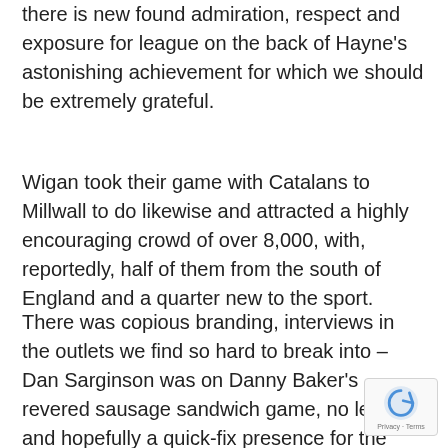there is new found admiration, respect and exposure for league on the back of Hayne's astonishing achievement for which we should be extremely grateful.
Wigan took their game with Catalans to Millwall to do likewise and attracted a highly encouraging crowd of over 8,000, with, reportedly, half of them from the south of England and a quarter new to the sport.
There was copious branding, interviews in the outlets we find so hard to break into – Dan Sarginson was on Danny Baker's revered sausage sandwich game, no less – and hopefully a quick-fix presence for the sport back in the capital so soon after Wembley and leading up to the Test match at the Olympic Stadium with the